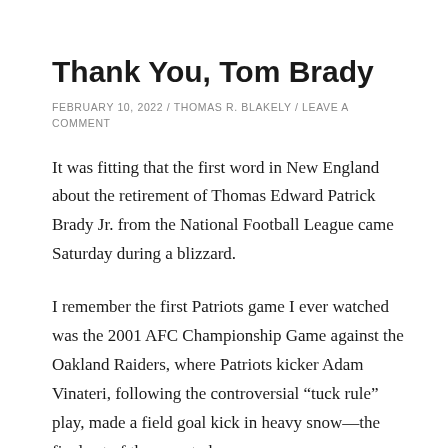Thank You, Tom Brady
FEBRUARY 10, 2022  /  THOMAS R. BLAKELY  /  LEAVE A COMMENT
It was fitting that the first word in New England about the retirement of Thomas Edward Patrick Brady Jr. from the National Football League came Saturday during a blizzard.
I remember the first Patriots game I ever watched was the 2001 AFC Championship Game against the Oakland Raiders, where Patriots kicker Adam Vinateri, following the controversial “tuck rule” play, made a field goal kick in heavy snow—the final act of the soon to be